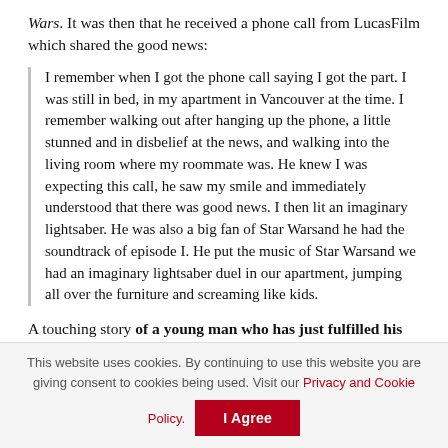Wars. It was then that he received a phone call from LucasFilm which shared the good news:
I remember when I got the phone call saying I got the part. I was still in bed, in my apartment in Vancouver at the time. I remember walking out after hanging up the phone, a little stunned and in disbelief at the news, and walking into the living room where my roommate was. He knew I was expecting this call, he saw my smile and immediately understood that there was good news. I then lit an imaginary lightsaber. He was also a big fan of Star Warsand he had the soundtrack of episode I. He put the music of Star Warsand we had an imaginary lightsaber duel in our apartment, jumping all over the furniture and screaming like kids.
A touching story of a young man who has just fulfilled his acting dream. In 2002, Hayden Christensen joined
This website uses cookies. By continuing to use this website you are giving consent to cookies being used. Visit our Privacy and Cookie Policy. I Agree